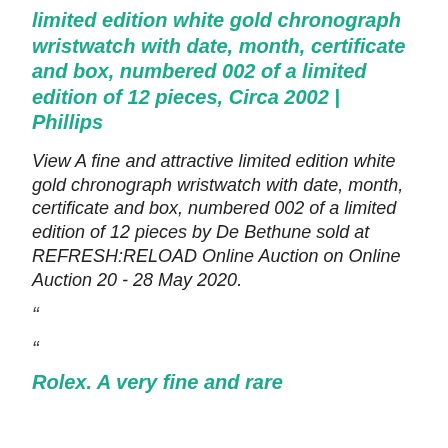limited edition white gold chronograph wristwatch with date, month, certificate and box, numbered 002 of a limited edition of 12 pieces, Circa 2002 | Phillips
View A fine and attractive limited edition white gold chronograph wristwatch with date, month, certificate and box, numbered 002 of a limited edition of 12 pieces by De Bethune sold at REFRESH:RELOAD Online Auction on Online Auction 20 - 28 May 2020.
“
“
Rolex. A very fine and rare